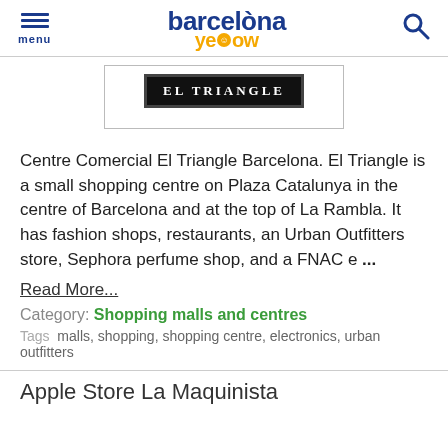menu | barcelona yellow | search
[Figure (photo): El Triangle shopping centre logo sign — white text on black background reading 'EL TRIANGLE', inside a bordered box]
Centre Comercial El Triangle Barcelona. El Triangle is a small shopping centre on Plaza Catalunya in the centre of Barcelona and at the top of La Rambla. It has fashion shops, restaurants, an Urban Outfitters store, Sephora perfume shop, and a FNAC e ...
Read More...
Category: Shopping malls and centres
Tags  malls, shopping, shopping centre, electronics, urban outfitters
Apple Store La Maquinista